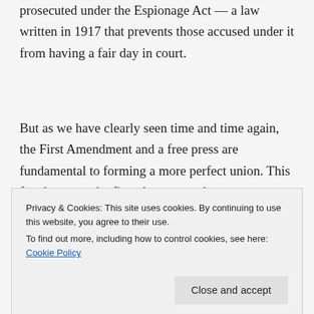prosecuted under the Espionage Act — a law written in 1917 that prevents those accused under it from having a fair day in court.
But as we have clearly seen time and time again, the First Amendment and a free press are fundamental to forming a more perfect union. This freedom must be fiercely protected, not undermined.
This is why Tulsi introduced H.R. 8452, the Protect Brave Whistleblowers Act, which would allow
Privacy & Cookies: This site uses cookies. By continuing to use this website, you agree to their use.
To find out more, including how to control cookies, see here: Cookie Policy
Assange to be dropped immediately with bipartisan